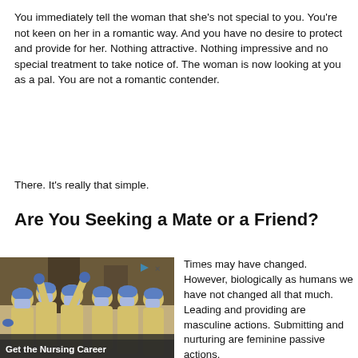You immediately tell the woman that she's not special to you. You're not keen on her in a romantic way. And you have no desire to protect and provide for her. Nothing attractive. Nothing impressive and no special treatment to take notice of. The woman is now looking at you as a pal. You are not a romantic contender.
There. It's really that simple.
Are You Seeking a Mate or a Friend?
[Figure (photo): Group of healthcare workers in yellow PPE gowns, blue surgical caps, gloves and face masks, posing together in a hospital corridor. Some have arms raised. An advertisement overlay with play and close icons is visible in the top right corner.]
Get the Nursing Career
Times may have changed. However, biologically as humans we have not changed all that much. Leading and providing are masculine actions. Submitting and nurturing are feminine passive actions.